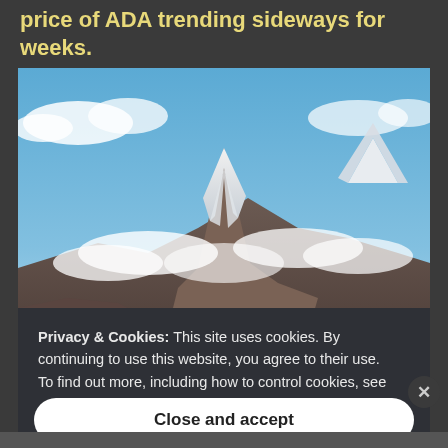price of ADA trending sideways for weeks.
[Figure (photo): A snow-capped mountain peak (likely Machapuchare/Fishtail in Nepal) rising above clouds under a blue sky]
Privacy & Cookies: This site uses cookies. By continuing to use this website, you agree to their use.
To find out more, including how to control cookies, see here: Cookie Policy
Close and accept